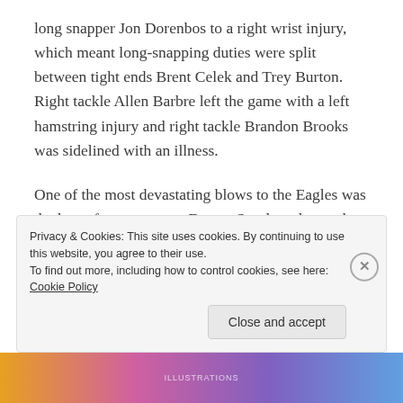long snapper Jon Dorenbos to a right wrist injury, which meant long-snapping duties were split between tight ends Brent Celek and Trey Burton. Right tackle Allen Barbre left the game with a left hamstring injury and right tackle Brandon Brooks was sidelined with an illness.
One of the most devastating blows to the Eagles was the loss of punt returner Darren Sproles who got hurt fielding a punt on a vicious hit by Washington defensive back Deshazor Everett, who drew unsportsmanlike conduct penalty and several members of the Eagles...
Privacy & Cookies: This site uses cookies. By continuing to use this website, you agree to their use.
To find out more, including how to control cookies, see here: Cookie Policy
Close and accept